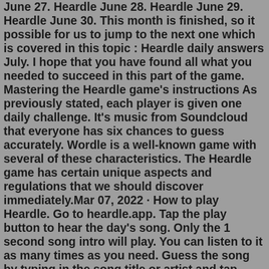June 27. Heardle June 28. Heardle June 29. Heardle June 30. This month is finished, so it possible for us to jump to the next one which is covered in this topic : Heardle daily answers July. I hope that you have found all what you needed to succeed in this part of the game. Mastering the Heardle game's instructions As previously stated, each player is given one daily challenge. It's music from Soundcloud that everyone has six chances to guess accurately. Wordle is a well-known game with several of these characteristics. The Heardle game has certain unique aspects and regulations that we should discover immediately.Mar 07, 2022 · How to play Heardle. Go to heardle.app. Tap the play button to hear the day's song. Only the 1 second song intro will play. You can listen to it as many times as you need. Guess the song by typing in the song title or artist and tap Submit. Incorrect or skipped guesses unlock more of the song. Guess correctly in as few tries as possible. ossett newsxa